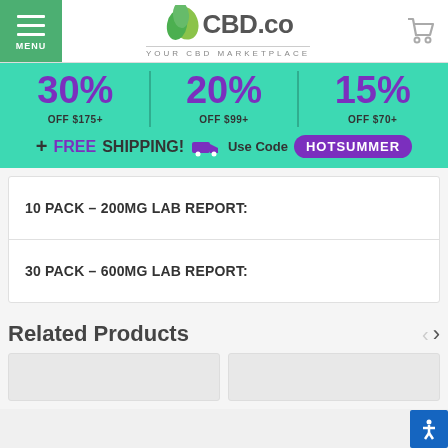[Figure (logo): CBD.co Your CBD Marketplace logo with green leaf icons]
[Figure (infographic): Promotional banner: 30% OFF $175+ | 20% OFF $99+ | 15% OFF $70+ plus FREE SHIPPING! Use Code HOTSUMMER]
10 PACK – 200MG LAB REPORT:
30 PACK – 600MG LAB REPORT:
Related Products